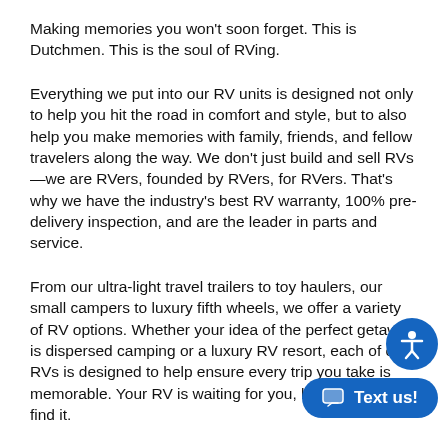Making memories you won't soon forget. This is Dutchmen. This is the soul of RVing.
Everything we put into our RV units is designed not only to help you hit the road in comfort and style, but to also help you make memories with family, friends, and fellow travelers along the way. We don't just build and sell RVs—we are RVers, founded by RVers, for RVers. That's why we have the industry's best RV warranty, 100% pre-delivery inspection, and are the leader in parts and service.
From our ultra-light travel trailers to toy haulers, our small campers to luxury fifth wheels, we offer a variety of RV options. Whether your idea of the perfect getaway is dispersed camping or a luxury RV resort, each of our RVs is designed to help ensure every trip you take is memorable. Your RV is waiting for you, let us help you find it.
No matter which Dutchmen RV you choose or where you park it, at Dutchmen, you're family. We build every one of